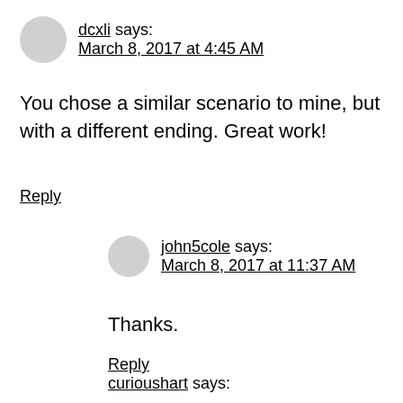dcxli says: March 8, 2017 at 4:45 AM
You chose a similar scenario to mine, but with a different ending. Great work!
Reply
john5cole says: March 8, 2017 at 11:37 AM
Thanks.
Reply
curioushart says: